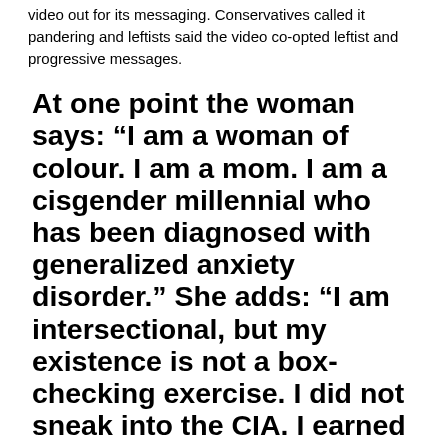video out for its messaging. Conservatives called it pandering and leftists said the video co-opted leftist and progressive messages.
At one point the woman says: “I am a woman of colour. I am a mom. I am a cisgender millennial who has been diagnosed with generalized anxiety disorder.” She adds: “I am intersectional, but my existence is not a box-checking exercise. I did not sneak into the CIA. I earned